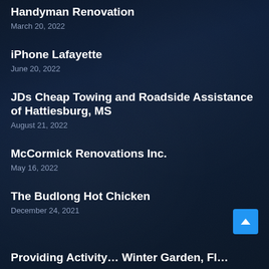Handyman Renovation
March 20, 2022
iPhone Lafayette
June 20, 2022
JDs Cheap Towing and Roadside Assistance of Hattiesburg, MS
August 21, 2022
McCormick Renovations Inc.
May 16, 2022
The Budlong Hot Chicken
December 24, 2021
Providing Activity… Winter Garden, Fl…